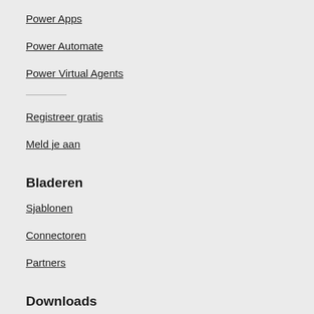Power Apps
Power Automate
Power Virtual Agents
Registreer gratis
Meld je aan
Bladeren
Sjablonen
Connectoren
Partners
Downloads